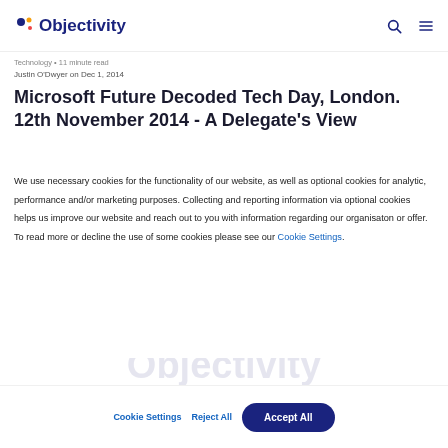Objectivity
Technology • 11 minute read
Justin O'Dwyer on Dec 1, 2014
Microsoft Future Decoded Tech Day, London. 12th November 2014 - A Delegate's View
We use necessary cookies for the functionality of our website, as well as optional cookies for analytic, performance and/or marketing purposes. Collecting and reporting information via optional cookies helps us improve our website and reach out to you with information regarding our organisaton or offer. To read more or decline the use of some cookies please see our Cookie Settings.
Cookie Settings   Reject All   Accept All